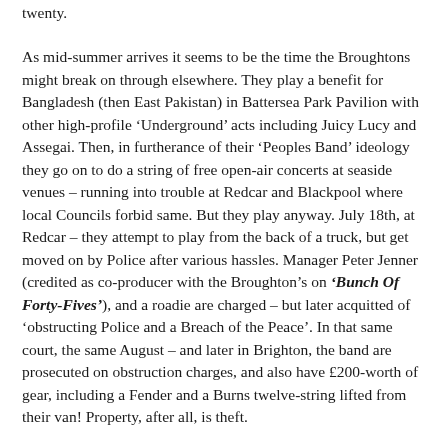twenty.
As mid-summer arrives it seems to be the time the Broughtons might break on through elsewhere. They play a benefit for Bangladesh (then East Pakistan) in Battersea Park Pavilion with other high-profile ‘Underground’ acts including Juicy Lucy and Assegai. Then, in furtherance of their ‘Peoples Band’ ideology they go on to do a string of free open-air concerts at seaside venues – running into trouble at Redcar and Blackpool where local Councils forbid same. But they play anyway. July 18th, at Redcar – they attempt to play from the back of a truck, but get moved on by Police after various hassles. Manager Peter Jenner (credited as co-producer with the Broughton’s on ‘Bunch Of Forty-Fives’), and a roadie are charged – but later acquitted of ‘obstructing Police and a Breach of the Peace’. In that same court, the same August – and later in Brighton, the band are prosecuted on obstruction charges, and also have £200-worth of gear, including a Fender and a Burns twelve-string lifted from their van! Property, after all, is theft.
This chaotic tour goes off against a soundtrack of ‘Edgar Broughton Band’ (AKA the one with ‘Out Demons Out’)